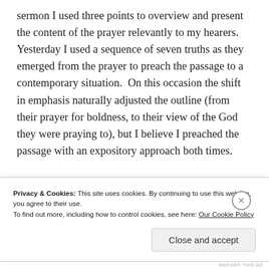sermon I used three points to overview and present the content of the prayer relevantly to my hearers. Yesterday I used a sequence of seven truths as they emerged from the prayer to preach the passage to a contemporary situation.  On this occasion the shift in emphasis naturally adjusted the outline (from their prayer for boldness, to their view of the God they were praying to), but I believe I preached the passage with an expository approach both times.
[Figure (other): Advertisement banner area with a circular logo on the left and a colorful gradient (orange/pink) banner on the right]
Privacy & Cookies: This site uses cookies. By continuing to use this website, you agree to their use.
To find out more, including how to control cookies, see here: Our Cookie Policy
Close and accept